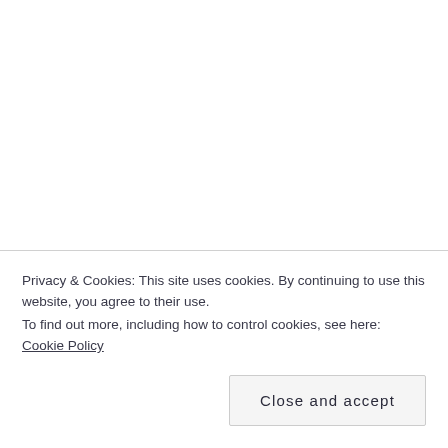Privacy & Cookies: This site uses cookies. By continuing to use this website, you agree to their use.
To find out more, including how to control cookies, see here: Cookie Policy
Close and accept
1 cup garbanzo bean flour